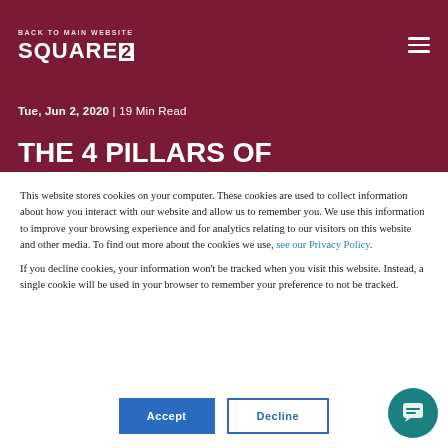BACK TO MAIN WEBSITE
[Figure (logo): Square 2 company logo in white on dark red background]
Tue, Jun 2, 2020  |  19 Min Read
THE 4 PILLARS OF
This website stores cookies on your computer. These cookies are used to collect information about how you interact with our website and allow us to remember you. We use this information to improve your browsing experience and for analytics relating to our visitors on this website and other media. To find out more about the cookies we use, see our Privacy Policy.

If you decline cookies, your information won't be tracked when you visit this website. Instead, a single cookie will be used in your browser to remember your preference to not be tracked.